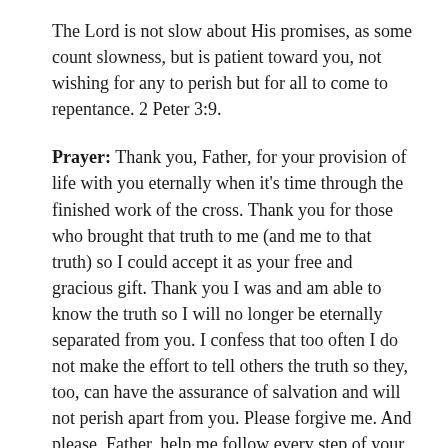The Lord is not slow about His promises, as some count slowness, but is patient toward you, not wishing for any to perish but for all to come to repentance. 2 Peter 3:9.
Prayer: Thank you, Father, for your provision of life with you eternally when it's time through the finished work of the cross. Thank you for those who brought that truth to me (and me to that truth) so I could accept it as your free and gracious gift. Thank you I was and am able to know the truth so I will no longer be eternally separated from you. I confess that too often I do not make the effort to tell others the truth so they, too, can have the assurance of salvation and will not perish apart from you. Please forgive me. And please, Father, help me follow every step of your lead in helping other people to leave the group of those perishing and join those